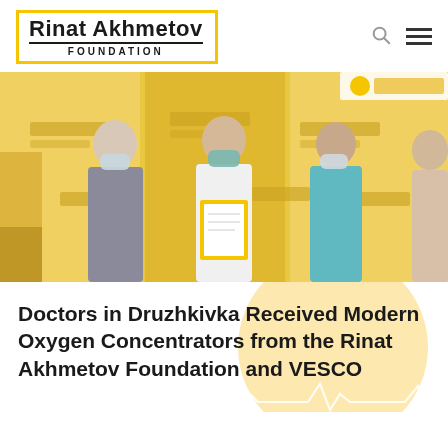Rinat Akhmetov FOUNDATION
[Figure (photo): Three people wearing face masks standing in front of a yellow Rinat Akhmetov Foundation branded backdrop. A man in a grey suit on the left, a man in a white medical coat in the center holding a yellow-framed certificate, and a woman in a teal medical uniform on the right.]
Doctors in Druzhkivka Received Modern Oxygen Concentrators from the Rinat Akhmetov Foundation and VESCO